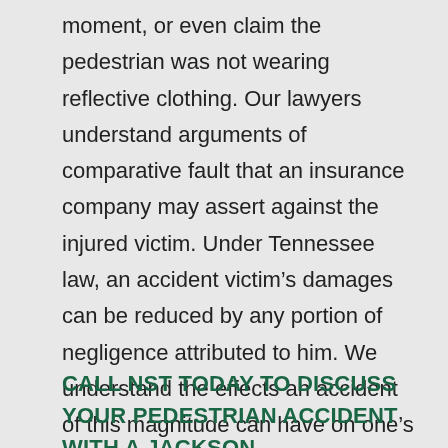moment, or even claim the pedestrian was not wearing reflective clothing. Our lawyers understand arguments of comparative fault that an insurance company may assert against the injured victim. Under Tennessee law, an accident victim's damages can be reduced by any portion of negligence attributed to him. We understand the effects an accident of this magnitude can have on one's life, and we actively work to help our clients recover damages to which they are entitled.
CALL NST TODAY TO DISCUSS YOUR PEDESTRIAN ACCIDENT WITH A JACKSON